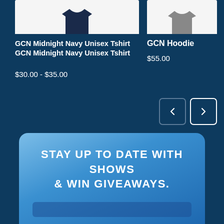[Figure (photo): White product card with partial t-shirt image at top, cropped from above]
[Figure (photo): White product card partial GCN Hoodie image at top right, cropped from above]
GCN Midnight Navy Unisex Tshirt GCN Midnight Navy Unisex Tshirt
$30.00 - $35.00
GCN Hoodie
$55.00
[Figure (other): Navigation left arrow button (dimmed) and right arrow button (highlighted white border)]
STAY UP TO DATE WITH SHOWS & WIN GIVEAWAYS.